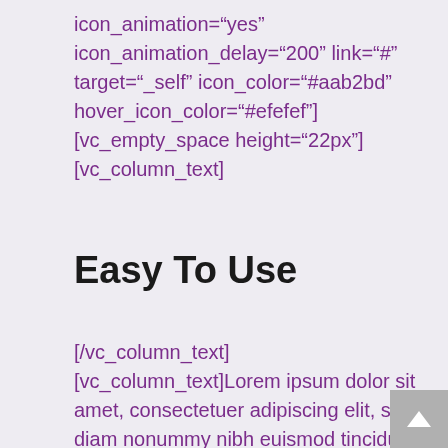icon_animation="yes"
icon_animation_delay="200" link="#"
target="_self" icon_color="#aab2bd"
hover_icon_color="#efefef"]
[vc_empty_space height="22px"]
[vc_column_text]
Easy To Use
[/vc_column_text]
[vc_column_text]Lorem ipsum dolor sit amet, consectetuer adipiscing elit, sed diam nonummy nibh euismod tincidunt ut laoreet dolore[/vc_column_text]